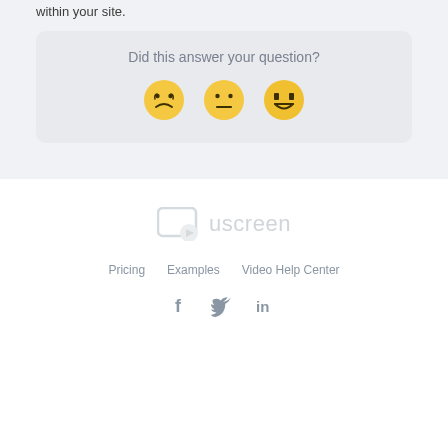within your site.
[Figure (infographic): Feedback widget asking 'Did this answer your question?' with three emoji faces: sad, neutral, and happy]
[Figure (logo): Uscreen logo - video player icon with text 'uscreen']
Pricing    Examples    Video Help Center
[Figure (infographic): Social media icons: Facebook (f), Twitter (bird), LinkedIn (in)]